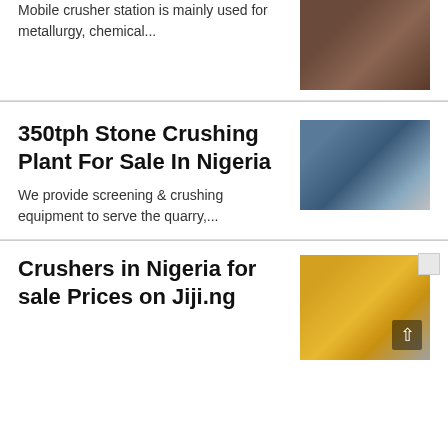Mobile crusher station is mainly used for metallurgy, chemical...
[Figure (photo): Industrial crusher machine with reddish-brown tones]
350tph Stone Crushing Plant For Sale In Nigeria
We provide screening & crushing equipment to serve the quarry,...
[Figure (photo): Blue stone crushing plant machinery outdoors]
[Figure (photo): Small broken image icon placeholder]
Crushers in Nigeria for sale Prices on Jiji.ng
[Figure (photo): Yellow industrial crusher machine]